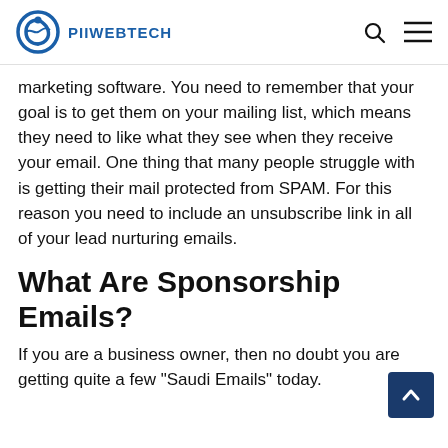PIIWEBTECH
marketing software. You need to remember that your goal is to get them on your mailing list, which means they need to like what they see when they receive your email. One thing that many people struggle with is getting their mail protected from SPAM. For this reason you need to include an unsubscribe link in all of your lead nurturing emails.
What Are Sponsorship Emails?
If you are a business owner, then no doubt you are getting quite a few "Saudi Emails" today.